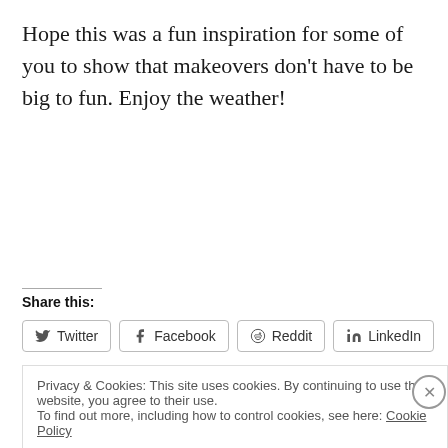Hope this was a fun inspiration for some of you to show that makeovers don’t have to be big to fun. Enjoy the weather!
Share this:
[Figure (other): Social share buttons: Twitter, Facebook, Reddit, LinkedIn]
Privacy & Cookies: This site uses cookies. By continuing to use this website, you agree to their use. To find out more, including how to control cookies, see here: Cookie Policy
Close and accept